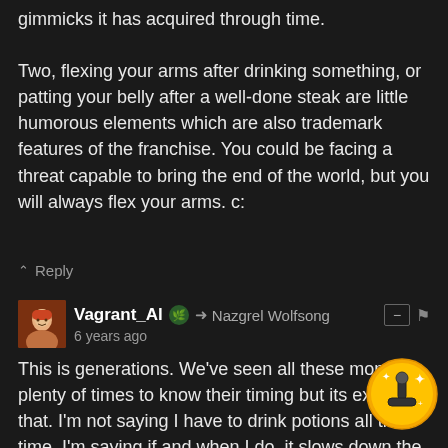gimmicks it has acquired through time.

Two, flexing your arms after drinking something, or patting your belly after a well-done steak are little humorous elements which are also trademark features of the franchise. You could be facing a threat capable to bring the end of the world, but you will always flex your arms. c:
Reply
Vagrant_Al → Nazgrel Wolfsong
6 years ago
This is generations. We've seen all these monsters plenty of times to know their timing but its exactly that. I'm not saying I have to drink potions all the time. I'm saying if and when I do, it slows down the game. Just running around waiting for the right time to use it. I run around for 5 seconds. Maybe 20. It's the only option. Evasion. That doesn't count as strategy to me. Look I get it. A lot of people are purists for this franchise and just think it's fine the way it is. I just don't think there's anything wrong with a franchise truly evolving.